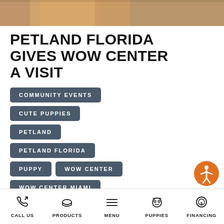[Figure (photo): Photo strip at top showing a person in orange holding a puppy, cropped to a narrow horizontal band]
PETLAND FLORIDA GIVES WOW CENTER A VISIT
COMMUNITY EVENTS
CUTE PUPPIES
PETLAND
PETLAND FLORIDA
PUPPY
WOW CENTER
WOW CENTER MIAMI
On August 19, 2022, our staff and puppies met with our wonderful friends
CALL US | PRODUCTS | MENU | PUPPIES | FINANCING